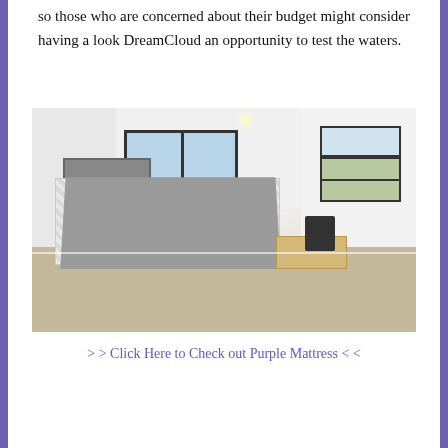so those who are concerned about their budget might consider having a look DreamCloud an opportunity to test the waters.
[Figure (photo): A bedroom photo showing a bed with a white quilted mattress on a metal frame, two large windows on the back wall, a smaller double window on the right wall, a wooden desk with a black chair, beige carpet floor, white walls and ceiling.]
> > Click Here to Check out Purple Mattress < <